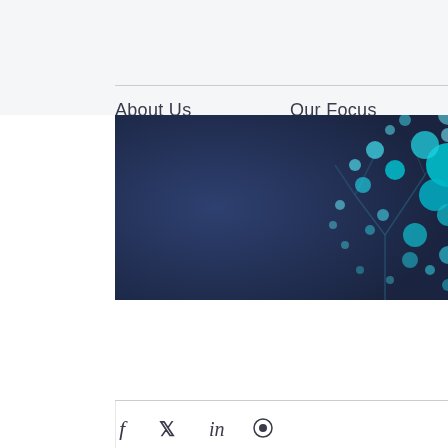About Us   Our Focus
[Figure (illustration): Dark navy blue banner with teal/cyan network bubble illustration on the right side, showing interconnected nodes and dots forming a tree or network pattern against a dark blue gradient background]
[Figure (infographic): Social media icons at the bottom: Facebook, Twitter, LinkedIn, and another icon, rendered in dark gray italic style]